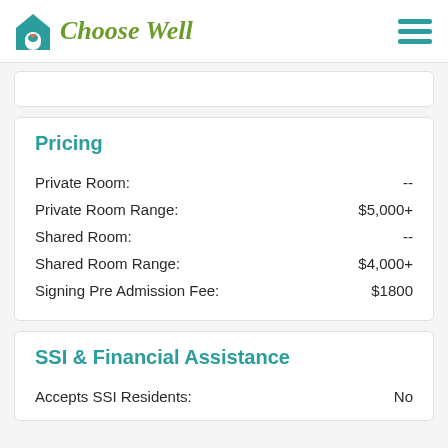Choose Well
Pricing
| Field | Value |
| --- | --- |
| Private Room: | -- |
| Private Room Range: | $5,000+ |
| Shared Room: | -- |
| Shared Room Range: | $4,000+ |
| Signing Pre Admission Fee: | $1800 |
SSI & Financial Assistance
| Field | Value |
| --- | --- |
| Accepts SSI Residents: | No |